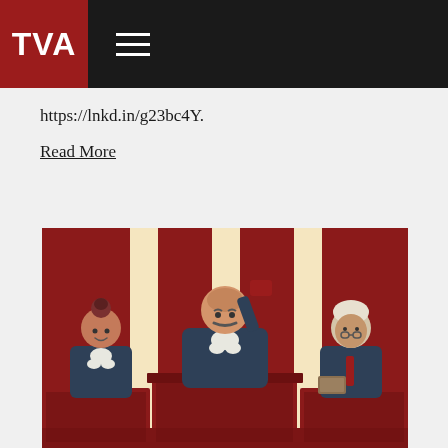TVA
https://lnkd.in/g23bc4Y.
Read More
[Figure (illustration): Cartoon illustration of a courtroom scene with a judge in the center holding a gavel, a female barrister on the left, and an older male barrister on the right, all wearing dark robes and white court dress. The background features dark red paneling with cream/gold columns.]